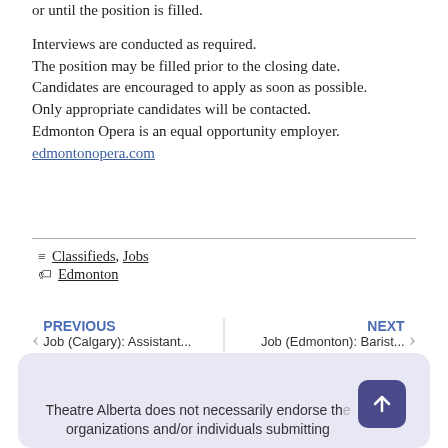or until the position is filled.

Interviews are conducted as required.
The position may be filled prior to the closing date.
Candidates are encouraged to apply as soon as possible.
Only appropriate candidates will be contacted.
Edmonton Opera is an equal opportunity employer.
edmontonopera.com
≡ Classifieds, Jobs
🏷 Edmonton
< PREVIOUS
Job (Calgary): Assistant...
| NEXT
Job (Edmonton): Barist...
Theatre Alberta does not necessarily endorse the organizations and/or individuals submitting